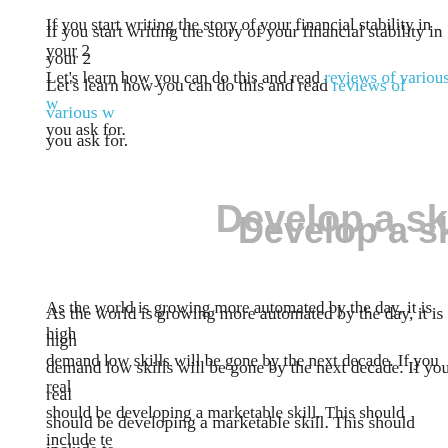If you start writing the story of your financial stability in your 2... Let's learn how you can do this and read reviews of various w... you ask for.
Develop a sk
As the world is growing more automated by the day, it is high... demand low skills will be gone by the next decade. If you real... should be developing a marketable skill. This should include te... learning and ensure that you keep improving your skill set for...
A second source o
Always remember that you need a second source of income... one job, you will not be able to make ends meet. There will be... need some extra cash and it will be fulfilled by high interest u... financial situations further. The idea is to ensure that money...
However, doing a second job is not always possible. In such... These amazing websites offer you a real and entertaining ex...